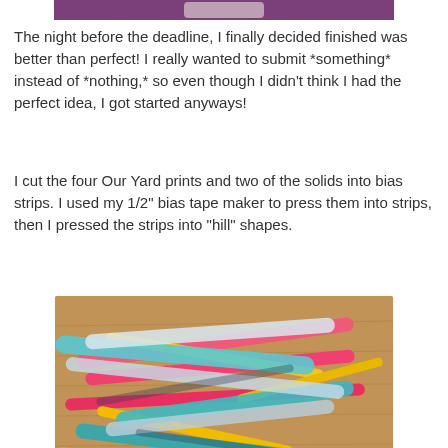[Figure (photo): Partial photo at top of page showing a purple/maroon background with white object]
The night before the deadline, I finally decided finished was better than perfect! I really wanted to submit *something* instead of *nothing,* so even though I didn't think I had the perfect idea, I got started anyways!
I cut the four Our Yard prints and two of the solids into bias strips. I used my 1/2" bias tape maker to press them into strips, then I pressed the strips into "hill" shapes.
[Figure (photo): Photo of colorful fabric bias strips in pink, yellow, teal/blue and patterned fabrics piled on a wooden surface]
I made a quilt sandwich using a half yard of Cotton Couture